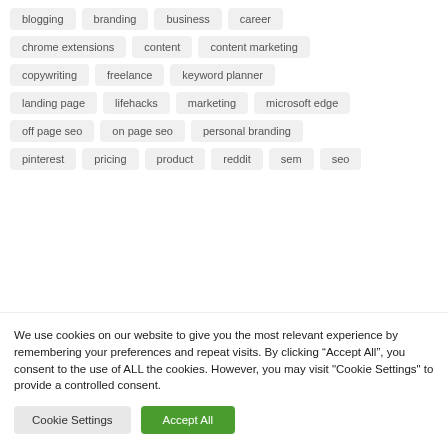blogging
branding
business
career
chrome extensions
content
content marketing
copywriting
freelance
keyword planner
landing page
lifehacks
marketing
microsoft edge
off page seo
on page seo
personal branding
pinterest
pricing
product
reddit
sem
seo
We use cookies on our website to give you the most relevant experience by remembering your preferences and repeat visits. By clicking “Accept All”, you consent to the use of ALL the cookies. However, you may visit "Cookie Settings" to provide a controlled consent.